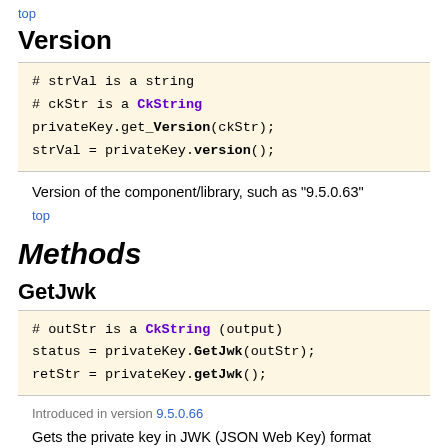top
Version
# strVal is a string
# ckStr is a CkString
privateKey.get_Version(ckStr);
strVal = privateKey.version();
Version of the component/library, such as "9.5.0.63"
top
Methods
GetJwk
# outStr is a CkString (output)
status = privateKey.GetJwk(outStr);
retStr = privateKey.getJwk();
Introduced in version 9.5.0.66
Gets the private key in JWK (JSON Web Key) format